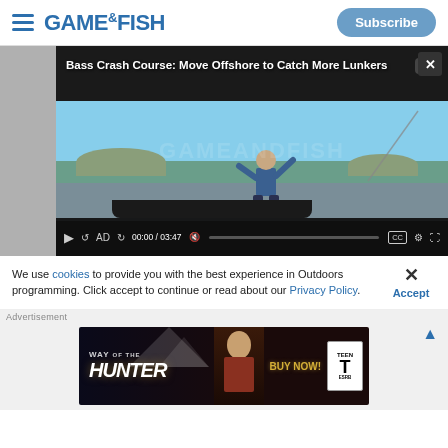GAME & FISH — Subscribe
[Figure (screenshot): Video player showing 'Bass Crash Course: Move Offshore to Catch More Lunkers' — a fisherman standing on a boat casting a rod over a lake. Video controls show 00:00 / 03:47.]
We use cookies to provide you with the best experience in Outdoors programming. Click accept to continue or read about our Privacy Policy.
Advertisement
[Figure (photo): Advertisement banner for 'Way of the Hunter' game — BUY NOW! with ESRB Teen rating.]